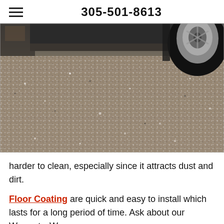305-501-8613
[Figure (photo): Photograph of a garage floor coated with speckled epoxy floor coating, with a car tire visible in the upper right corner and a garage interior in the background.]
harder to clean, especially since it attracts dust and dirt.
Floor Coating are quick and easy to install which lasts for a long period of time. Ask about our Warranty. We use an